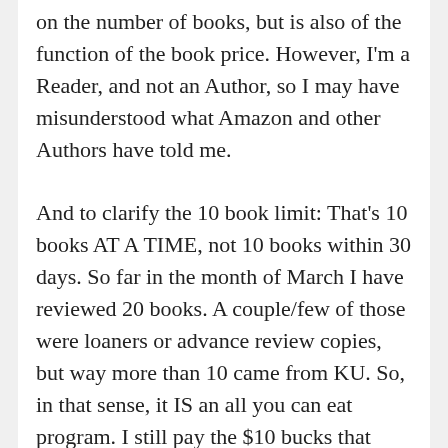on the number of books, but is also of the function of the book price. However, I'm a Reader, and not an Author, so I may have misunderstood what Amazon and other Authors have told me. And to clarify the 10 book limit: That's 10 books AT A TIME, not 10 books within 30 days. So far in the month of March I have reviewed 20 books. A couple/few of those were loaners or advance review copies, but way more than 10 came from KU. So, in that sense, it IS an all you can eat program. I still pay the $10 bucks that everybody else pays, since I read like a wild man, my authors collectively are getting paid more than the person who just likes the